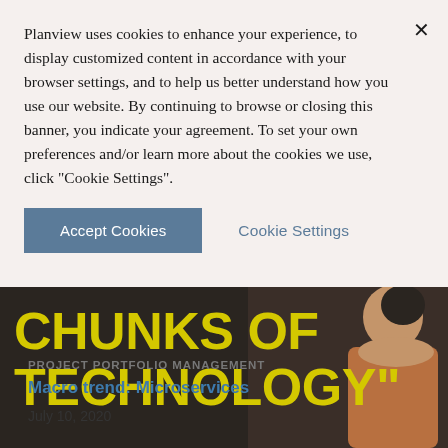Planview uses cookies to enhance your experience, to display customized content in accordance with your browser settings, and to help us better understand how you use our website. By continuing to browse or closing this banner, you indicate your agreement. To set your own preferences and/or learn more about the cookies we use, click "Cookie Settings".
Accept Cookies
Cookie Settings
[Figure (photo): Dark background image with large bold yellow text reading 'CHUNKS OF TECHNOLOGY"' and a partial view of a person on the right side]
PROJECT PORTFOLIO MANAGEMENT
Macro trend: Microservices
July 10, 2020